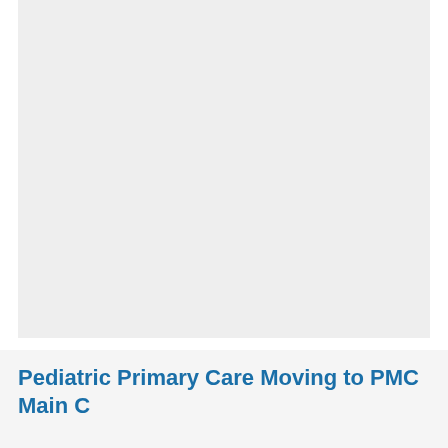[Figure (photo): Large image placeholder area with light gray background, likely a photograph related to pediatric care]
Pediatric Primary Care Moving to PMC Main C...